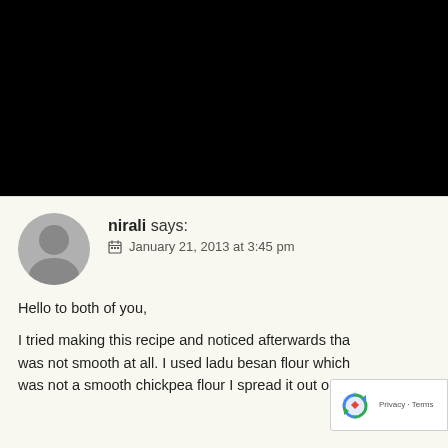[Figure (photo): Black rectangle occupying the top half of the page]
nirali says:
January 21, 2013 at 3:45 pm
Hello to both of you,

I tried making this recipe and noticed afterwards tha... was not smooth at all. I used ladu besan flour which... was not a smooth chickpea flour I spread it out on the foil...